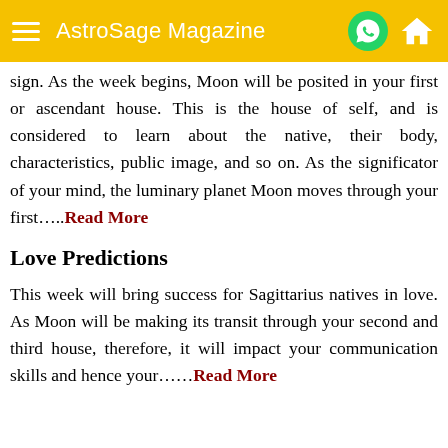AstroSage Magazine
sign. As the week begins, Moon will be posited in your first or ascendant house. This is the house of self, and is considered to learn about the native, their body, characteristics, public image, and so on. As the significator of your mind, the luminary planet Moon moves through your first…..Read More
Love Predictions
This week will bring success for Sagittarius natives in love. As Moon will be making its transit through your second and third house, therefore, it will impact your communication skills and hence your……Read More